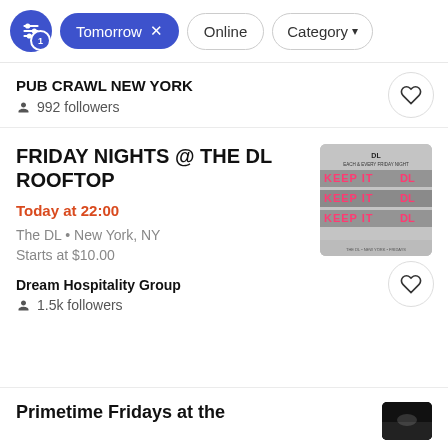Tomorrow x | Online | Category
PUB CRAWL NEW YORK
992 followers
FRIDAY NIGHTS @ THE DL ROOFTOP
Today at 22:00
The DL • New York, NY
Starts at $10.00
Dream Hospitality Group
1.5k followers
[Figure (illustration): Event poster for Friday Nights at The DL rooftop with repeated 'KEEP IT DL' text in pink and black on grey background]
Primetime Fridays at the